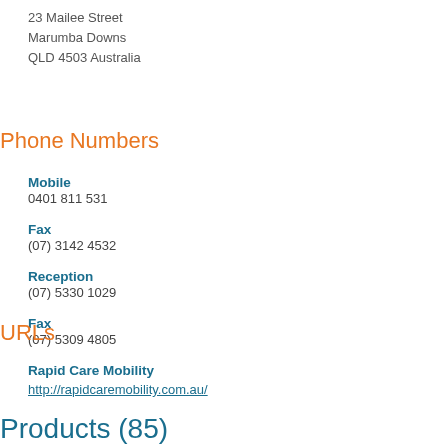23 Mailee Street
Marumba Downs
QLD 4503 Australia
Phone Numbers
Mobile
0401 811 531
Fax
(07) 3142 4532
Reception
(07) 5330 1029
Fax
(07) 5309 4805
URLs
Rapid Care Mobility
http://rapidcaremobility.com.au/
Products (85)